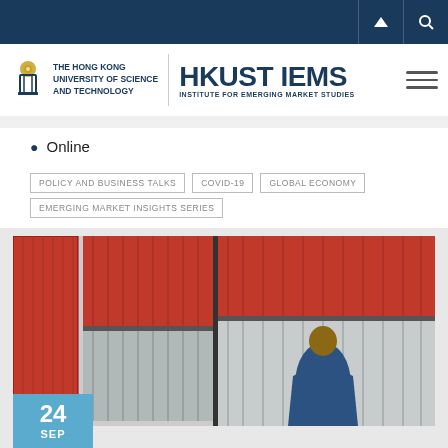HKUST IEMS – Institute for Emerging Market Studies
Online
POLICY AND BUSINESS TALKS
COVID-19
GLOBAL ECONOMY
EMERGING MARKET INSIGHTS SERIES
[Figure (photo): Person in a blue jacket standing in front of stacked red and grey shipping containers]
24 SEP